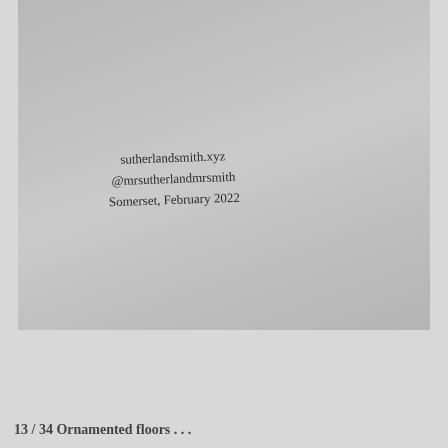[Figure (photo): A photograph of a book page showing text: sutherlandsmith.xyz, @mrsutherlandmrsmith, Somerset, February 2022, printed on a gray/beige paper surface]
13 / 34 Ornamented floors . . .